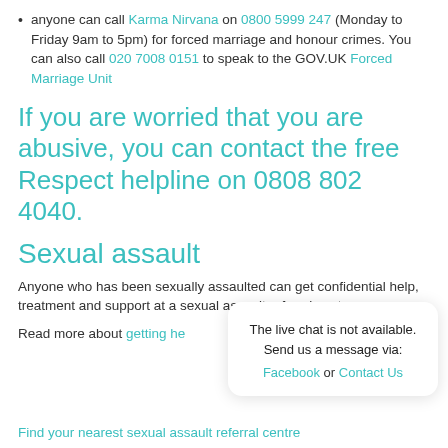anyone can call Karma Nirvana on 0800 5999 247 (Monday to Friday 9am to 5pm) for forced marriage and honour crimes. You can also call 020 7008 0151 to speak to the GOV.UK Forced Marriage Unit
If you are worried that you are abusive, you can contact the free Respect helpline on 0808 802 4040.
Sexual assault
Anyone who has been sexually assaulted can get confidential help, treatment and support at a sexual assault referral centre.
Read more about getting help after sexual assault
Find your nearest sexual assault referral centre